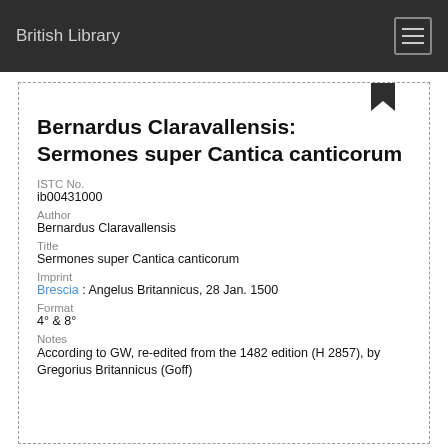British Library
Bernardus Claravallensis: Sermones super Cantica canticorum
ISTC No.
ib00431000
Author
Bernardus Claravallensis
Title
Sermones super Cantica canticorum
Imprint
Brescia : Angelus Britannicus, 28 Jan. 1500
Format
4° & 8°
Notes
According to GW, re-edited from the 1482 edition (H 2857), by Gregorius Britannicus (Goff)